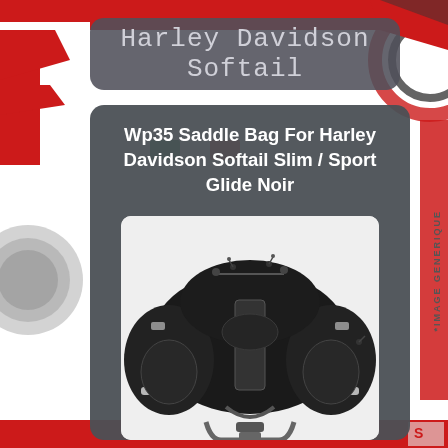Harley Davidson Softail
Wp35 Saddle Bag For Harley Davidson Softail Slim / Sport Glide Noir
[Figure (photo): Black motorcycle saddle bag (Wp35) shown from front angle, with multiple compartments, zippers, reflective strips, and carrying straps]
*IMAGE GENERIQUE